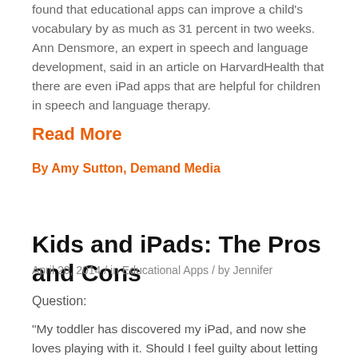found that educational apps can improve a child's vocabulary by as much as 31 percent in two weeks. Ann Densmore, an expert in speech and language development, said in an article on HarvardHealth that there are even iPad apps that are helpful for children in speech and language therapy.
Read More
By Amy Sutton, Demand Media
Kids and iPads: The Pros and Cons
April 20, 2014 / in Educational Apps / by Jennifer
Question:
“My toddler has discovered my iPad, and now she loves playing with it. Should I feel guilty about letting her use it? Or are there beneﬁts of iPads for toddlers?”